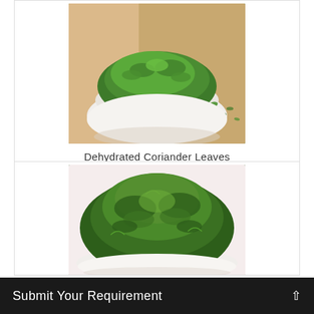[Figure (photo): White ceramic bowl filled with dehydrated coriander leaves (dried, flaked green herb), with scattered flakes on a wooden surface behind it. Light background.]
Dehydrated Coriander Leaves
[Figure (photo): A white ceramic bowl heaped high with dried green coriander/herb leaves, piled above the rim, on a light background.]
Submit Your Requirement